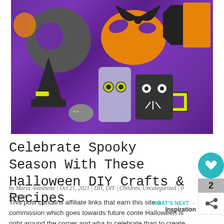[Figure (photo): Halloween paper craft decorations on a purple background including pumpkins, bats, cats, witch hats, and toilet roll characters]
Celebrate Spooky Season With These Halloween DIY Crafts & Recipes
by Maria Antoinette | Oct 21, 2021 | DIY, DIY | Children, Uncategorized | 0 Commer
This post contains affiliate links that earn this site a commission which goes towards future conte Halloween is right around the corner and wha to celebrate than to create some of these tasty and fun Halloween DIY crafts and recipes. The great...